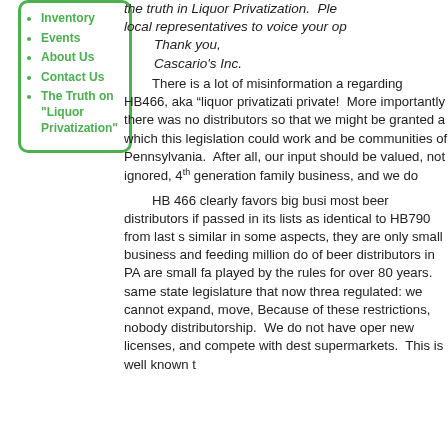Inventory
Events
About Us
Contact Us
The Truth on "Liquor Privatization"
the truth in 'Liquor Privatization.' Please contact your local representatives to voice your op... Thank you, Cascario's Inc.
There is a lot of misinformation a... regarding HB466, aka “liquor privatizati… private! More importantly there was no... distributors so that we might be granted a... which this legislation could work and be… communities of Pennsylvania. After all, our input should be valued, not ignored, ... 4th generation family business, and we do… HB 466 clearly favors big busi… most beer distributors if passed in its… lists as identical to HB790 from last s… similar in some aspects, they are only… small business and feeding million do… of beer distributors in PA are small fa… played by the rules for over 80 years… same state legislature that now threa… regulated: we cannot expand, move,… Because of these restrictions, nobody… distributorship. We do not have oper… new licenses, and compete with dest… supermarkets. This is well known…